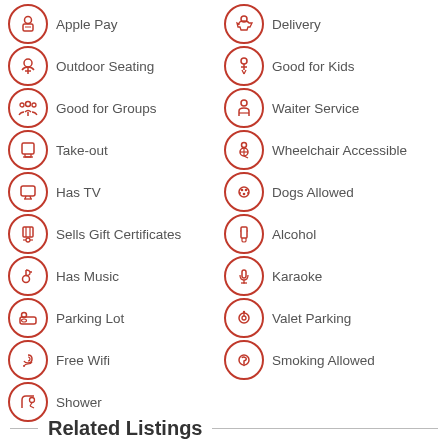Apple Pay
Delivery
Outdoor Seating
Good for Kids
Good for Groups
Waiter Service
Take-out
Wheelchair Accessible
Has TV
Dogs Allowed
Sells Gift Certificates
Alcohol
Has Music
Karaoke
Parking Lot
Valet Parking
Free Wifi
Smoking Allowed
Shower
Related Listings